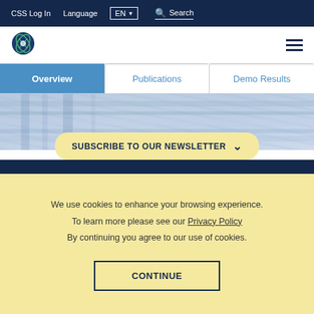CSS Log In  Language  EN ▼  🔍 Search
[Figure (logo): Circular logo with DNA/globe motif in blue and green]
Overview  Publications  Demo Results
[Figure (photo): Blurred scientific/laboratory image with blue tones]
SUBSCRIBE TO OUR NEWSLETTER ⌄
We use cookies to enhance your browsing experience. To learn more please see our Privacy Policy. By continuing you agree to our use of cookies.
CONTINUE